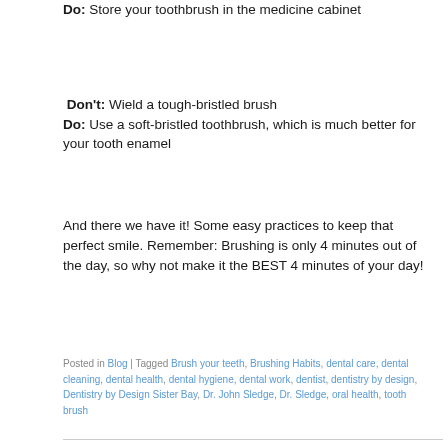Do: Store your toothbrush in the medicine cabinet
Don't: Wield a tough-bristled brush Do: Use a soft-bristled toothbrush, which is much better for your tooth enamel
And there we have it! Some easy practices to keep that perfect smile. Remember: Brushing is only 4 minutes out of the day, so why not make it the BEST 4 minutes of your day!
Posted in Blog | Tagged Brush your teeth, Brushing Habits, dental care, dental cleaning, dental health, dental hygiene, dental work, dentist, dentistry by design, Dentistry by Design Sister Bay, Dr. John Sledge, Dr. Sledge, oral health, tooth brush